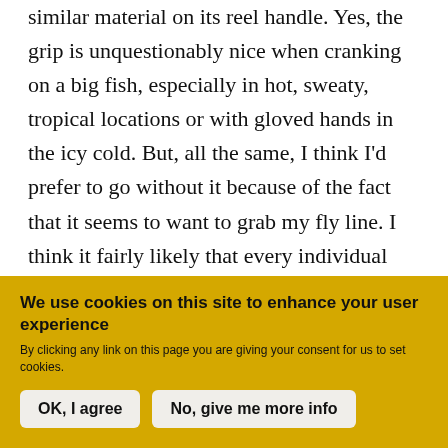similar material on its reel handle. Yes, the grip is unquestionably nice when cranking on a big fish, especially in hot, sweaty, tropical locations or with gloved hands in the icy cold. But, all the same, I think I'd prefer to go without it because of the fact that it seems to want to grab my fly line. I think it fairly likely that every individual angler's mileage will vary here, as for my part it happened mostly when pitching out under-powered spey casts. Regardless of whether your casting is a sloppy as mine and thus you may experience the same issue or not, this feature may be a
We use cookies on this site to enhance your user experience
By clicking any link on this page you are giving your consent for us to set cookies.
OK, I agree
No, give me more info